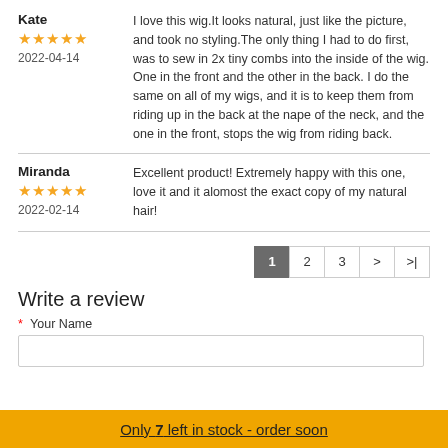Kate
★★★★★
2022-04-14
I love this wig.It looks natural, just like the picture, and took no styling.The only thing I had to do first, was to sew in 2x tiny combs into the inside of the wig. One in the front and the other in the back. I do the same on all of my wigs, and it is to keep them from riding up in the back at the nape of the neck, and the one in the front, stops the wig from riding back.
Miranda
★★★★★
2022-02-14
Excellent product! Extremely happy with this one, love it and it alomost the exact copy of my natural hair!
1 2 3 > >|
Write a review
* Your Name
Only 7 left in stock - order soon